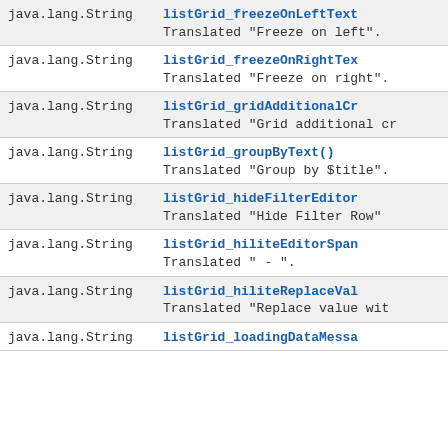| Type | Description |
| --- | --- |
| java.lang.String | listGrid_freezeOnLeftText()
Translated "Freeze on left". |
| java.lang.String | listGrid_freezeOnRightText()
Translated "Freeze on right". |
| java.lang.String | listGrid_gridAdditionalCr...()
Translated "Grid additional cr... |
| java.lang.String | listGrid_groupByText()
Translated "Group by $title". |
| java.lang.String | listGrid_hideFilterEditor...()
Translated "Hide Filter Row" |
| java.lang.String | listGrid_hiliteEditorSpan...()
Translated " - ". |
| java.lang.String | listGrid_hiliteReplaceVal...()
Translated "Replace value wit... |
| java.lang.String | listGrid_loadingDataMessa...() |